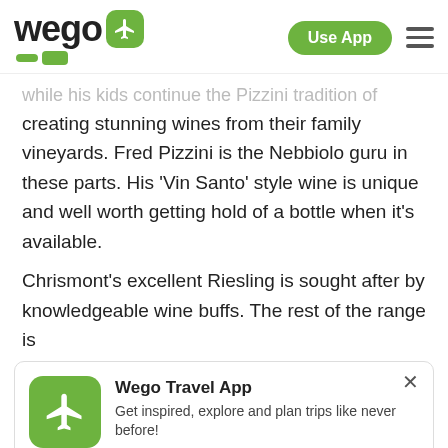[Figure (logo): Wego logo with green airplane icon and 'Use App' button and hamburger menu in header]
...while his kids continue the Pizzini tradition of creating stunning wines from their family vineyards. Fred Pizzini is the Nebbiolo guru in these parts. His 'Vin Santo' style wine is unique and well worth getting hold of a bottle when it's available.
Chrismont's excellent Riesling is sought after by knowledgeable wine buffs. The rest of the range is
[Figure (screenshot): Wego Travel App promotional banner with green airplane icon, title 'Wego Travel App', description 'Get inspired, explore and plan trips like never before!', 4.5 star rating with 250k reviews, and orange 'DOWNLOAD APP NOW' button]